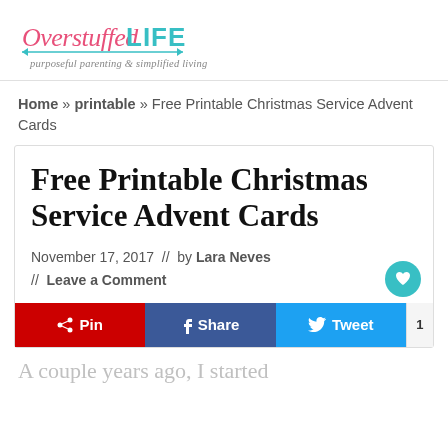[Figure (logo): Overstuffed LIFE logo with tagline 'purposeful parenting & simplified living']
Home » printable » Free Printable Christmas Service Advent Cards
Free Printable Christmas Service Advent Cards
November 17, 2017 // by Lara Neves // Leave a Comment
Pin  Share  Tweet  1
A couple years ago, I started